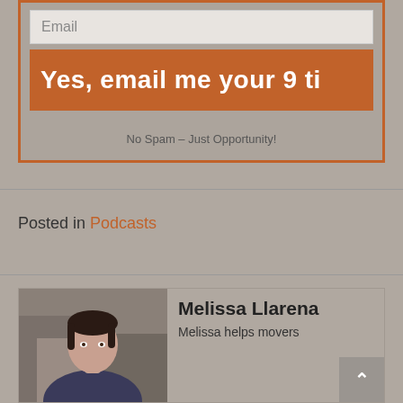[Figure (screenshot): Email signup form with an input field labeled 'Email', an orange submit button with text 'Yes, email me your 9 ti...' (truncated), and text 'No Spam – Just Opportunity!' below.]
No Spam – Just Opportunity!
Posted in Podcasts
[Figure (photo): Photo of Melissa Llarena, a woman with dark hair.]
Melissa Llarena
Melissa helps movers